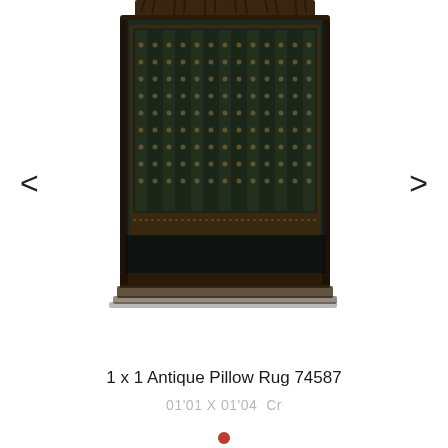[Figure (photo): Photograph of a small antique pillow rug (74587), dark brown/green tones with vertical striped geometric pattern and fringe at top. Navigation arrows on left and right sides.]
1 x 1 Antique Pillow Rug 74587
01'01 X 01'04  Cr